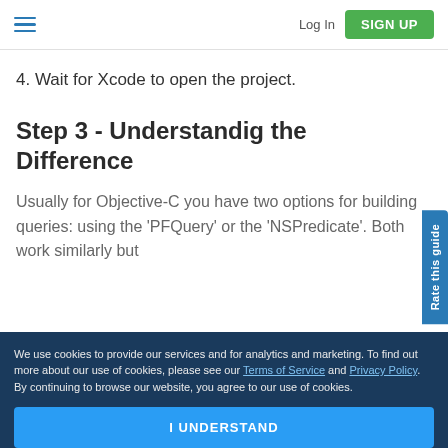Log In | SIGN UP
4. Wait for Xcode to open the project.
Step 3 - Understandig the Difference
Usually for Objective-C you have two options for building queries: using the 'PFQuery' or the 'NSPredicate'. Both work similarly but
We use cookies to provide our services and for analytics and marketing. To find out more about our use of cookies, please see our Terms of Service and Privacy Policy. By continuing to browse our website, you agree to our use of cookies.
I UNDERSTAND